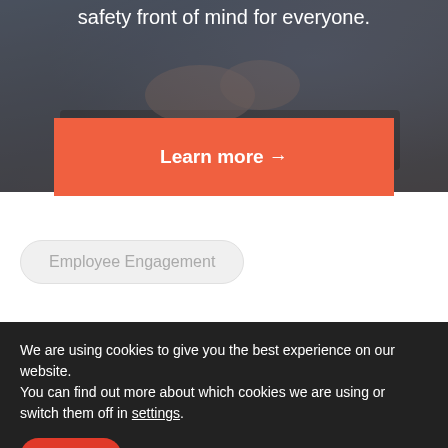[Figure (photo): Dark photo of hands typing on a laptop keyboard with text overlay reading 'safety front of mind for everyone.' and an orange 'Learn more →' button]
safety front of mind for everyone.
Learn more →
Employee Engagement
We are using cookies to give you the best experience on our website.
You can find out more about which cookies we are using or switch them off in settings.
Accept